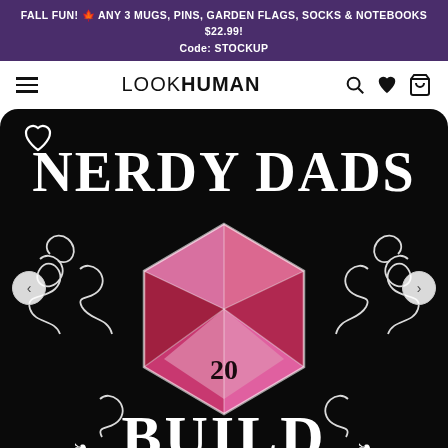FALL FUN! 🍁 ANY 3 MUGS, PINS, GARDEN FLAGS, SOCKS & NOTEBOOKS $22.99! Code: STOCKUP
LOOKHUMAN
[Figure (illustration): Product image: Black background graphic showing 'NERDY DADS BUILD' text in white decorative lettering with ornate scrollwork and a d20 (twenty-sided die) in pink/red/purple tones showing the number 20 in the center. A heart outline icon is in the top-left corner. Navigation arrows on left and right sides.]